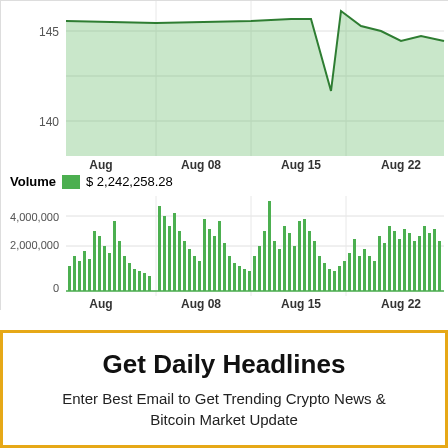[Figure (area-chart): Price area chart (top portion) with green filled area, y-axis labels 140 and 145, x-axis labels Aug, Aug 08, Aug 15, Aug 22. Below is a volume bar chart with y-axis labels 0, 2,000,000, 4,000,000 and same x-axis labels. A navigator/minimap is shown at the bottom in gray.]
Volume $ 2,242,258.28
Get Daily Headlines
Enter Best Email to Get Trending Crypto News & Bitcoin Market Update